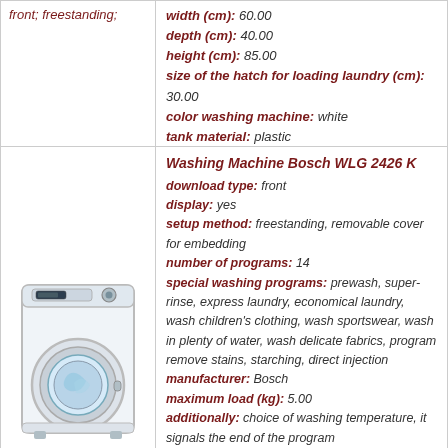front; freestanding;
width (cm): 60.00
depth (cm): 40.00
height (cm): 85.00
size of the hatch for loading laundry (cm): 30.00
color washing machine: white
tank material: plastic
more information
Washing Machine Bosch WLG 2426 K
download type: front
display: yes
setup method: freestanding, removable cover for embedding
number of programs: 14
special washing programs: prewash, super-rinse, express laundry, economical laundry, wash children's clothing, wash sportswear, wash in plenty of water, wash delicate fabrics, program remove stains, starching, direct injection
manufacturer: Bosch
maximum load (kg): 5.00
additionally: choice of washing temperature, it signals the end of the program
operating the washing machine: electronic
spin efficiency class: B
wash class: A
power consumption (kWh / kg): 0.18
water consumption per wash cycle (n): 40.00
noise during the spinning (dB): 82.00
noise level during washing (dB): 58.00
class power consumption: A
[Figure (photo): Washing machine Bosch WLG 2426 K, front-loading, white]